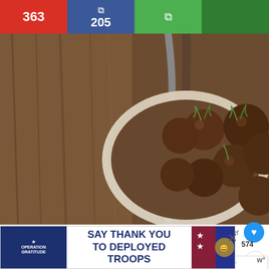[Figure (screenshot): Social share toolbar with red section showing '363', blue section showing share icon and '205', two green sections]
[Figure (photo): Photo of Swedish meatballs in a bowl with gravy, garnished with fresh dill, with a wooden table and utensils visible]
Photo by Holly A. Heyser
But even this was simply withdrawal symptoms of the Swedish meatballs' heyday a decade earlier. Can't you just see the chafing dish, the Sterno and the meatballs nestled in the congealing-yet-somehow-irresistible gravy?
[Figure (screenshot): Advertisement banner: 'SAY THANK YOU TO DEPLOYED TROOPS' - Operation Gratitude ad]
[Figure (screenshot): What's Next widget showing 'Konigsberger Klopse,...' with thumbnail]